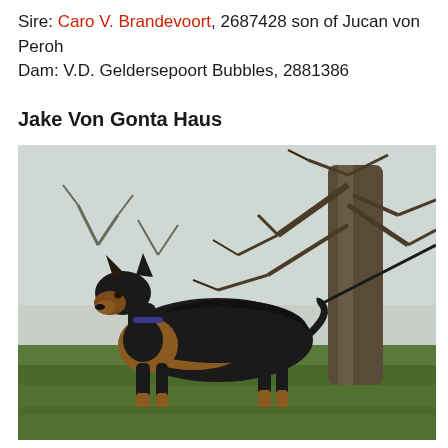Sire: Caro V. Brandevoort, 2687428 son of Jucan von Peroh
Dam: V.D. Geldersepoort Bubbles, 2881386
Jake Von Gonta Haus
[Figure (photo): A German Shepherd dog standing in profile on green grass, with bare trees in the background. The dog is black and tan, wearing a collar with a leash attached, looking alert with ears erect.]